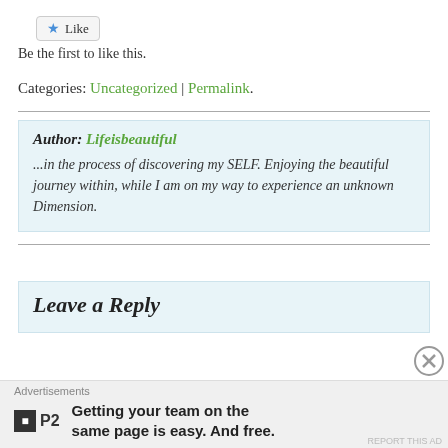[Figure (other): Like button with star icon]
Be the first to like this.
Categories: Uncategorized | Permalink.
Author: Lifeisbeautiful
...in the process of discovering my SELF. Enjoying the beautiful journey within, while I am on my way to experience an unknown Dimension.
Leave a Reply
Advertisements
Getting your team on the same page is easy. And free.